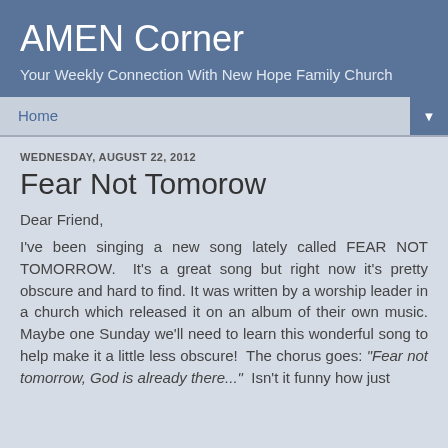AMEN Corner
Your Weekly Connection With New Hope Family Church
Home
WEDNESDAY, AUGUST 22, 2012
Fear Not Tomorow
Dear Friend,
I've been singing a new song lately called FEAR NOT TOMORROW.  It's a great song but right now it's pretty obscure and hard to find. It was written by a worship leader in a church which released it on an album of their own music. Maybe one Sunday we'll need to learn this wonderful song to help make it a little less obscure!  The chorus goes: "Fear not tomorrow, God is already there..."  Isn't it funny how just